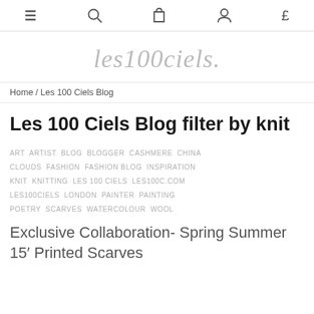≡  🔍  🛍  👤  £
[Figure (logo): Les 100 ciels. brand logo in cursive grey text]
Home / Les 100 Ciels Blog
Les 100 Ciels Blog filter by knit
ART  ARTIST  BLOG  BLOGGER  CASHMERE  CHINA  CLOUDS  FASHION  FASHION BLOG  INSPIRATION  KNIT  KNITTING  LES 100 CIELS  LES100C.COM  LES100CIELS  LONDON  PAINTER  PAINTING  POETRY  SCARVES  WATERCOLOUR  WOOL
Exclusive Collaboration- Spring Summer 15' Printed Scarves